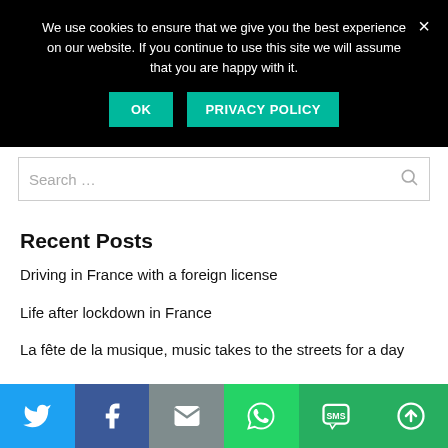We use cookies to ensure that we give you the best experience on our website. If you continue to use this site we will assume that you are happy with it.
OK | PRIVACY POLICY
Search ...
Recent Posts
Driving in France with a foreign license
Life after lockdown in France
La fête de la musique, music takes to the streets for a day
[Figure (other): Social sharing bar with Twitter, Facebook, Email, WhatsApp, SMS, and More buttons]